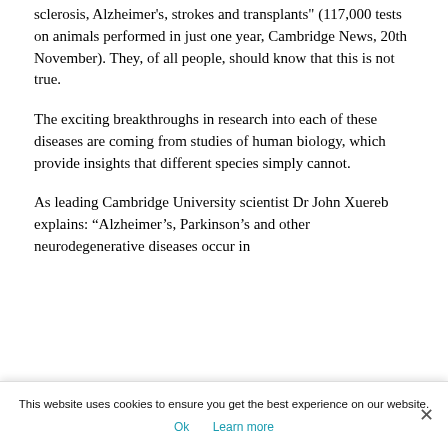sclerosis, Alzheimer's, strokes and transplants" (117,000 tests on animals performed in just one year, Cambridge News, 20th November). They, of all people, should know that this is not true.
The exciting breakthroughs in research into each of these diseases are coming from studies of human biology, which provide insights that different species simply cannot.
As leading Cambridge University scientist Dr John Xuereb explains: “Alzheimer’s, Parkinson’s and other neurodegenerative diseases occur in
This website uses cookies to ensure you get the best experience on our website.
Ok  Learn more